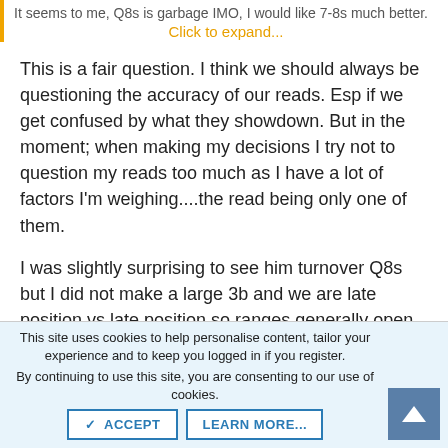It seems to me, Q8s is garbage IMO, I would like 7-8s much better. Click to expand...
This is a fair question. I think we should always be questioning the accuracy of our reads. Esp if we get confused by what they showdown. But in the moment; when making my decisions I try not to question my reads too much as I have a lot of factors I'm weighing....the read being only one of them.
I was slightly surprising to see him turnover Q8s but I did not make a large 3b and we are late position vs late position so ranges generally open up. Because of circumstances I've folded so much he probably puts me exactly on monsters and will have an easy time knowing where he is at. If the situations were reversed I would probably call if I had 22+, Q9s, J9s, T8s, 56s+, KQo+ all suited broadways, all suited aces, AQo+.
This site uses cookies to help personalise content, tailor your experience and to keep you logged in if you register.
By continuing to use this site, you are consenting to our use of cookies.
ACCEPT
LEARN MORE...